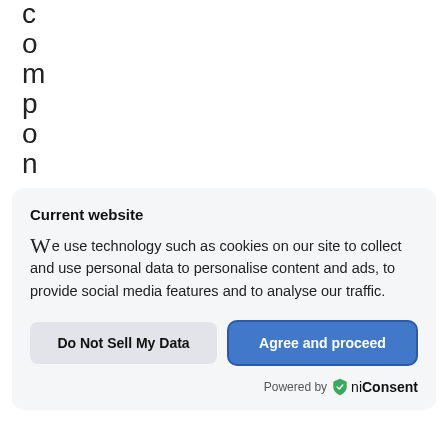c o m p o n e
Current website
We use technology such as cookies on our site to collect and use personal data to personalise content and ads, to provide social media features and to analyse our traffic.
Do Not Sell My Data
Agree and proceed
Powered by OniConsent